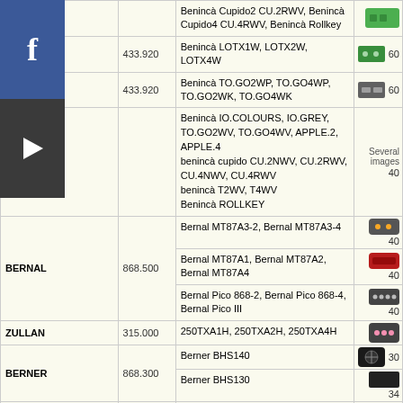| Brand | Freq | Models | Image | Num |
| --- | --- | --- | --- | --- |
|  |  | Benincà Cupido2 CU.2RWV, Benincà Cupido4 CU.4RWV, Benincà Rollkey | img |  |
|  | 433.920 | Benincà LOTX1W, LOTX2W, LOTX4W | img | 60 |
|  | 433.920 | Benincà TO.GO2WP, TO.GO4WP, TO.GO2WK, TO.GO4WK | img | 60 |
|  |  | Benincà IO.COLOURS, IO.GREY, TO.GO2WV, TO.GO4WV, APPLE.2, APPLE.4 | benincà cupido CU.2NWV, CU.2RWV, CU.4NWV, CU.4RWV | benincà T2WV, T4WV | Benincà ROLLKEY | Several images | 40 |
| BERNAL | 868.500 | Bernal MT87A3-2, Bernal MT87A3-4 | img | 40 |
| BERNAL | 868.500 | Bernal MT87A1, Bernal MT87A2, Bernal MT87A4 | img | 40 |
| BERNAL | 868.500 | Bernal Pico 868-2, Bernal Pico 868-4, Bernal Pico III | img | 40 |
| ZULLAN | 315.000 | 250TXA1H, 250TXA2H, 250TXA4H | img |  |
| BERNER | 868.300 | Berner BHS140 | img | 30 |
| BERNER | 868.300 | Berner BHS130 | img | 34 |
| BESIDE | 433.920 | Beside BEZAP | img | 60 |
| BESIDE | 433.920 | Beside HIT | img | 60 |
|  | 315.000 | BETA ADU 6500... | img |  |